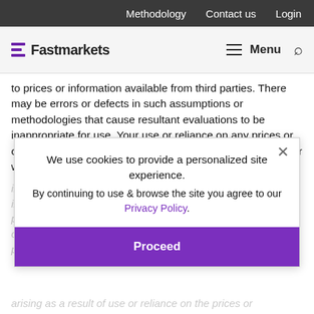Methodology  Contact us  Login
[Figure (logo): Fastmarkets logo with purple triple-bar icon and site navigation menu/search]
to prices or information available from third parties. There may be errors or defects in such assumptions or methodologies that cause resultant evaluations to be inappropriate for use. Your use or reliance on any prices or other information published by us is at your sole risk. Neither we nor any of our providers of
information make any representations or warranty express or implied as to the accuracy, completeness or reliability of any prices or other information, or other information forming a part of the published information or its fitness or suitability for a particular purpose or use. Neither we, nor any of our officers,
We use cookies to provide a personalized site experience.
By continuing to use & browse the site you agree to our Privacy Policy.
Proceed
arising as a result of use or reliance on the prices or